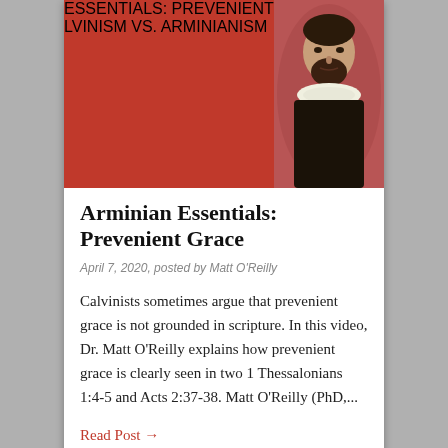[Figure (illustration): Red banner image with large white bold text reading 'ESSENTIALS: PREVENIENT GRACE' and a subtitle bar 'CALVINISM VS. ARMINIANISM', with a portrait of a historical figure on the right side.]
Arminian Essentials: Prevenient Grace
April 7, 2020, posted by Matt O'Reilly
Calvinists sometimes argue that prevenient grace is not grounded in scripture. In this video, Dr. Matt O'Reilly explains how prevenient grace is clearly seen in two 1 Thessalonians 1:4-5 and Acts 2:37-38. Matt O'Reilly (PhD,...
Read Post →